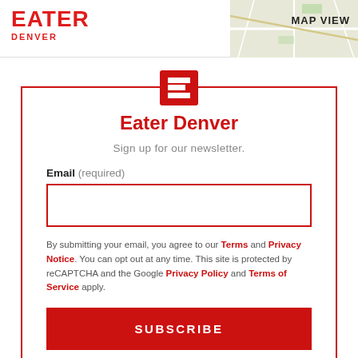EATER DENVER
[Figure (logo): Eater Denver red logo mark - stylized letter E in red]
Eater Denver
Sign up for our newsletter.
Email (required)
By submitting your email, you agree to our Terms and Privacy Notice. You can opt out at any time. This site is protected by reCAPTCHA and the Google Privacy Policy and Terms of Service apply.
SUBSCRIBE